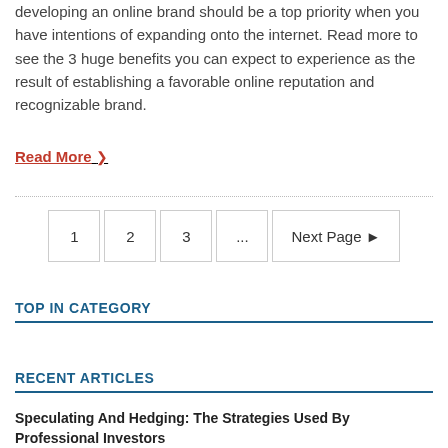developing an online brand should be a top priority when you have intentions of expanding onto the internet. Read more to see the 3 huge benefits you can expect to experience as the result of establishing a favorable online reputation and recognizable brand.
Read More ›
1  2  3  ...  Next Page ▶
TOP IN CATEGORY
RECENT ARTICLES
Speculating And Hedging: The Strategies Used By Professional Investors